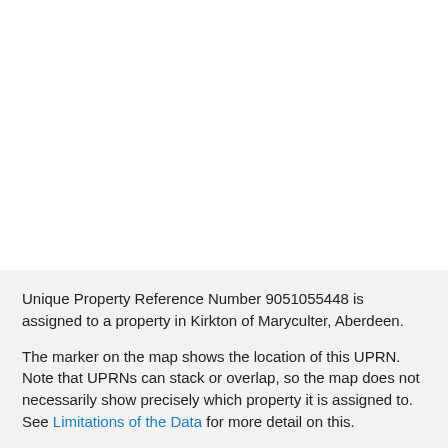[Figure (map): Map area showing location of UPRN 9051055448 in Kirkton of Maryculter, Aberdeen. White/blank map region.]
Unique Property Reference Number 9051055448 is assigned to a property in Kirkton of Maryculter, Aberdeen.
The marker on the map shows the location of this UPRN. Note that UPRNs can stack or overlap, so the map does not necessarily show precisely which property it is assigned to. See Limitations of the Data for more detail on this.